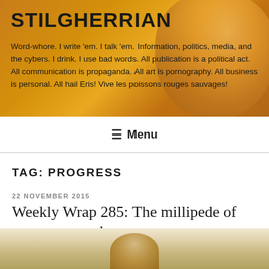STILGHERRIAN
Word-whore. I write 'em. I talk 'em. Information, politics, media, and the cybers. I drink. I use bad words. All publication is a political act. All communication is propaganda. All art is pornography. All business is personal. All hail Eris! Vive les poissons rouges sauvages!
≡ Menu
TAG: PROGRESS
22 NOVEMBER 2015
Weekly Wrap 285: The millipede of progress marches on
[Figure (photo): Post thumbnail image showing a figure, warm beige/tan tones]